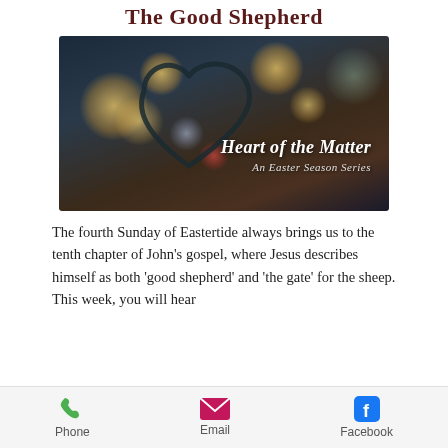The Good Shepherd
[Figure (illustration): A bokeh photograph background showing a heart shape made from wire/string with colorful bokeh lights. Text overlay reads 'Heart of the Matter' and 'An Easter Season Series'.]
The fourth Sunday of Eastertide always brings us to the tenth chapter of John's gospel, where Jesus describes himself as both 'good shepherd' and 'the gate' for the sheep. This week, you will hear
Phone   Email   Facebook